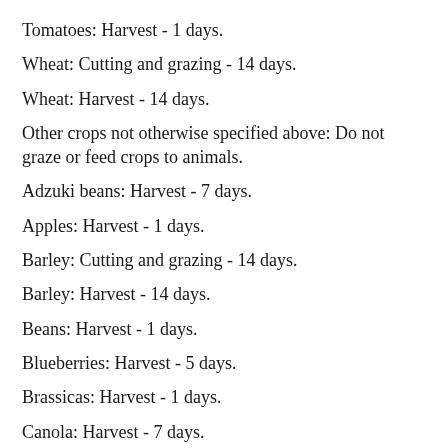Tomatoes: Harvest - 1 days.
Wheat: Cutting and grazing - 14 days.
Wheat: Harvest - 14 days.
Other crops not otherwise specified above: Do not graze or feed crops to animals.
Adzuki beans: Harvest - 7 days.
Apples: Harvest - 1 days.
Barley: Cutting and grazing - 14 days.
Barley: Harvest - 14 days.
Beans: Harvest - 1 days.
Blueberries: Harvest - 5 days.
Brassicas: Harvest - 1 days.
Canola: Harvest - 7 days.